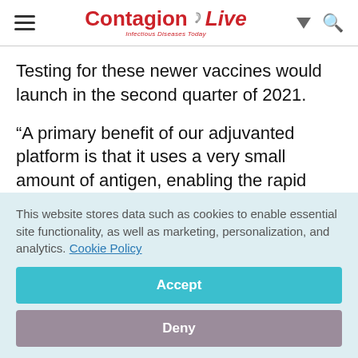ContagionLive — Infectious Diseases Today
Testing for these newer vaccines would launch in the second quarter of 2021.
“A primary benefit of our adjuvanted platform is that it uses a very small amount of antigen, enabling the rapid creation and large-scale production of combination vaccine candidates
This website stores data such as cookies to enable essential site functionality, as well as marketing, personalization, and analytics. Cookie Policy
Accept
Deny